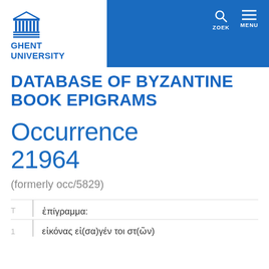[Figure (logo): Ghent University logo with classical building icon and text GHENT UNIVERSITY in blue]
DATABASE OF BYZANTINE BOOK EPIGRAMS
Occurrence 21964
(formerly occ/5829)
| T |  |
| --- | --- |
| T | ἐπίγραμμα: |
| 1 | εἰκόνας εἰ(σα)γέν τοι στ(ῶν) |